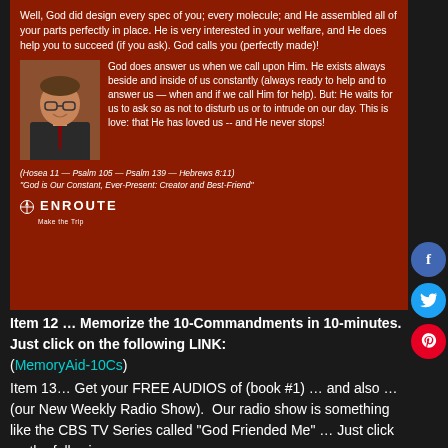Well, God did design every spec of you; every molecule; and He assembled all of your parts perfectly in place. He is very interested in your welfare, and He does help you to succeed (if you ask). God calls you (perfectly made)!
[Figure (photo): Portrait photo of a middle-aged man with glasses, wearing a suit and tie, in front of bookshelves]
God does answer us when we call upon Him. He exists always beside and inside of us constantly (always ready to help and to answer us — when and if we call Him for help). But: He waits for us to ask so as not to disturb us or to intrude on our day. This is love: that He has loved us -- and He never stops!
(Hosea 11 — Psalm 105 — Psalm 139 — Hebrews 8:11)
"God is Our Constant, Ever-Present: Creator and Best-Friend"
[Figure (logo): EnRoute logo with cross/compass icon and tagline 'Make the Trip']
Item 12 … Memorize the 10-Commandments in 10-minutes. Just click on the following LINK:
(MemoryAid-10Cs)
Item 13… Get your FREE AUDIOS of (book #1) … and also … (our New Weekly Radio Show).  Our radio show is something like the CBS TV Series called "God Friended Me" … Just click on the following